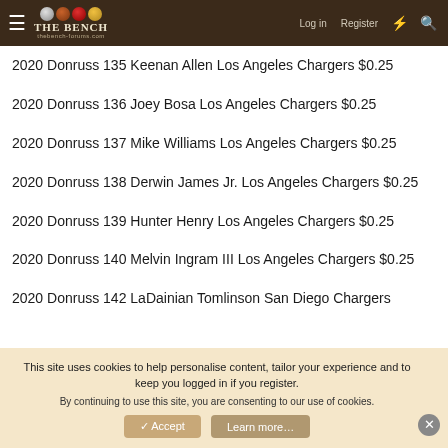The Bench — navigation bar with Log in, Register links
2020 Donruss 135 Keenan Allen Los Angeles Chargers $0.25
2020 Donruss 136 Joey Bosa Los Angeles Chargers $0.25
2020 Donruss 137 Mike Williams Los Angeles Chargers $0.25
2020 Donruss 138 Derwin James Jr. Los Angeles Chargers $0.25
2020 Donruss 139 Hunter Henry Los Angeles Chargers $0.25
2020 Donruss 140 Melvin Ingram III Los Angeles Chargers $0.25
2020 Donruss 142 LaDainian Tomlinson San Diego Chargers
This site uses cookies to help personalise content, tailor your experience and to keep you logged in if you register.
By continuing to use this site, you are consenting to our use of cookies.